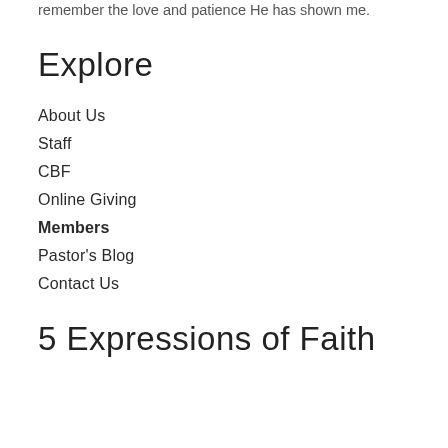remember the love and patience He has shown me.
Explore
About Us
Staff
CBF
Online Giving
Members
Pastor's Blog
Contact Us
5 Expressions of Faith